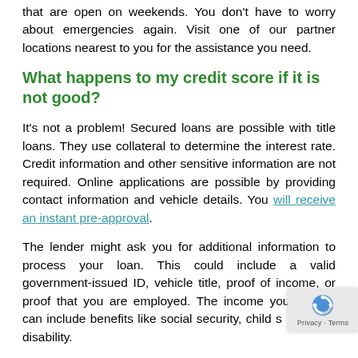that are open on weekends. You don't have to worry about emergencies again. Visit one of our partner locations nearest to you for the assistance you need.
What happens to my credit score if it is not good?
It's not a problem! Secured loans are possible with title loans. They use collateral to determine the interest rate. Credit information and other sensitive information are not required. Online applications are possible by providing contact information and vehicle details. You will receive an instant pre-approval.
The lender might ask you for additional information to process your loan. This could include a valid government-issued ID, vehicle title, proof of income, or proof that you are employed. The income you receive can include benefits like social security, child s… or disability.
Lenders might require proof of address, phone…